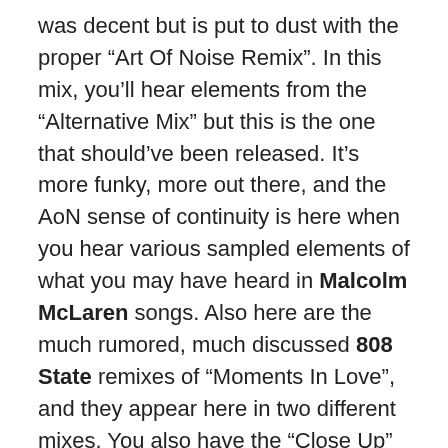was decent but is put to dust with the proper “Art Of Noise Remix”. In this mix, you’ll hear elements from the “Alternative Mix” but this is the one that should’ve been released. It’s more funky, more out there, and the AoN sense of continuity is here when you hear various sampled elements of what you may have heard in Malcolm McLaren songs. Also here are the much rumored, much discussed 808 State remixes of “Moments In Love”, and they appear here in two different mixes. You also have the “Close Up” mix of “Close (To The Edit)” along with my favorite, “Close Up (Hop)”, complete with samples of the pu’ili.
Also on the album are mixes of songs by Anne Pigalle, Instinct, Nasty Rox Inc., and Mint Juleps, and together they show the kind of creativity, courage, power, strength, and lengths these artists, producers, and remix engineers